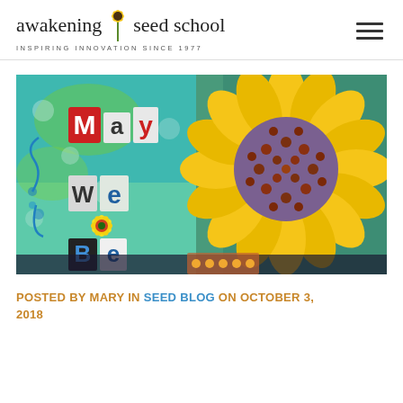[Figure (logo): Awakening Seed School logo with sunflower icon and tagline 'INSPIRING INNOVATION SINCE 1977']
[Figure (photo): Colorful mixed-media artwork showing large sunflower and text 'May We Be' with decorative floral elements on turquoise/green background]
POSTED BY MARY IN SEED BLOG ON OCTOBER 3, 2018